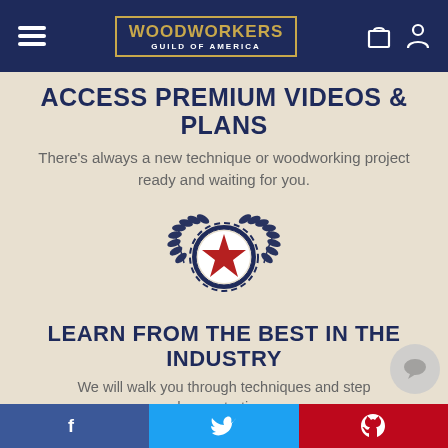Woodworkers Guild of America — navigation header
ACCESS PREMIUM VIDEOS & PLANS
There's always a new technique or woodworking project ready and waiting for you.
[Figure (illustration): A circular badge/seal with a red star in the center, navy blue decorative gear-like border, and two laurel wreaths on the sides, all on a beige background.]
LEARN FROM THE BEST IN THE INDUSTRY
We will walk you through techniques and step demonstrations.
Social share bar: Facebook, Twitter, Pinterest